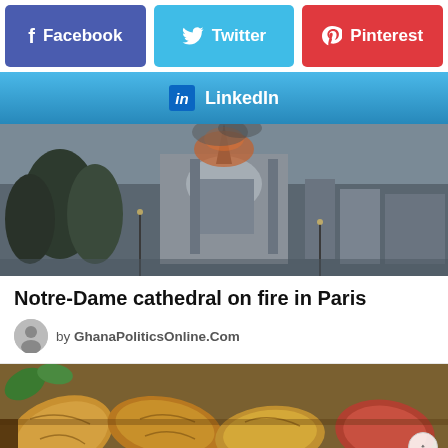[Figure (other): Social share buttons: Facebook (purple), Twitter (blue), Pinterest (red)]
[Figure (other): LinkedIn share button bar (light blue gradient)]
[Figure (photo): Notre-Dame cathedral on fire in Paris, showing smoke and flames above the gothic cathedral with trees in foreground]
Notre-Dame cathedral on fire in Paris
by GhanaPoliticsOnline.Com
[Figure (photo): Close-up photo of cocoa pods/fruits piled together, yellow-orange and reddish colored]